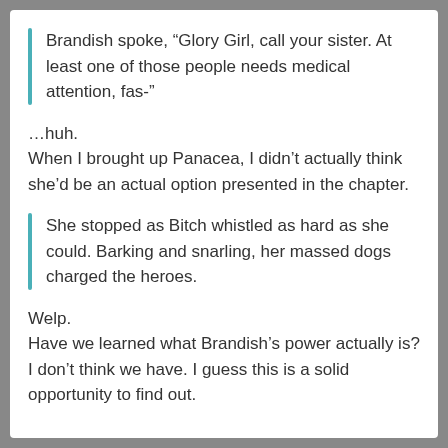Brandish spoke, “Glory Girl, call your sister. At least one of those people needs medical attention, fas-”
…huh.
When I brought up Panacea, I didn’t actually think she’d be an actual option presented in the chapter.
She stopped as Bitch whistled as hard as she could. Barking and snarling, her massed dogs charged the heroes.
Welp.
Have we learned what Brandish’s power actually is? I don’t think we have. I guess this is a solid opportunity to find out.